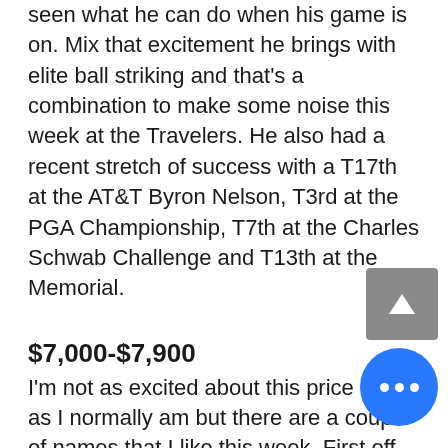seen what he can do when his game is on. Mix that excitement he brings with elite ball striking and that's a combination to make some noise this week at the Travelers. He also had a recent stretch of success with a T17th at the AT&T Byron Nelson, T3rd at the PGA Championship, T7th at the Charles Schwab Challenge and T13th at the Memorial.
$7,000-$7,900
I'm not as excited about this price range as I normally am but there are a couple of names that I like this week. First off we have Luke List ($7,300.) A very good price for what he brings to the table in my opinion. List is elite off the tee, currently being 11th on tour in both average driving distance and SG: O... He's also a very good ball striker so he...